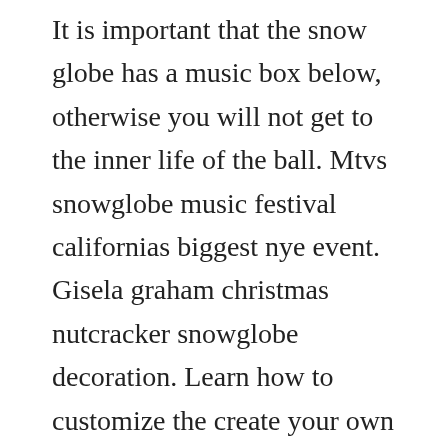It is important that the snow globe has a music box below, otherwise you will not get to the inner life of the ball. Mtvs snowglobe music festival californias biggest nye event. Gisela graham christmas nutcracker snowglobe decoration. Learn how to customize the create your own photo snow globe from neil enterprises duration. New 20 mickey mouse disney jcpenney snow globe black friday christmas. They asked questions, they inquired, sought out solution, maybe even experimented, instead of giving up. The video shows how to repair a snow globe with a